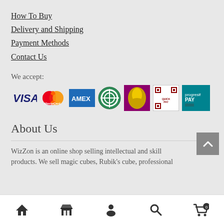How To Buy
Delivery and Shipping
Payment Methods
Contact Us
We accept:
[Figure (illustration): Payment method logos: VISA, MasterCard, AMEX, and other payment icons]
About Us
WizZon is an online shop selling intellectual and skill products. We sell magic cubes, Rubik's cube, professional
Bottom navigation bar with home, store, account, search, and cart icons